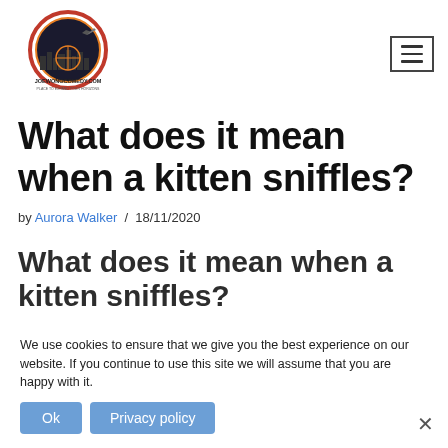[Figure (logo): Joewongcomedy.com logo — circular emblem with cityscape and airplane silhouette, text 'JOEWONGCOMEDY.COM' and tagline below]
What does it mean when a kitten sniffles?
by Aurora Walker / 18/11/2020
What does it mean when a kitten sniffles?
We use cookies to ensure that we give you the best experience on our website. If you continue to use this site we will assume that you are happy with it.
If your kitty has a runny nose, it's likely due to inflammation